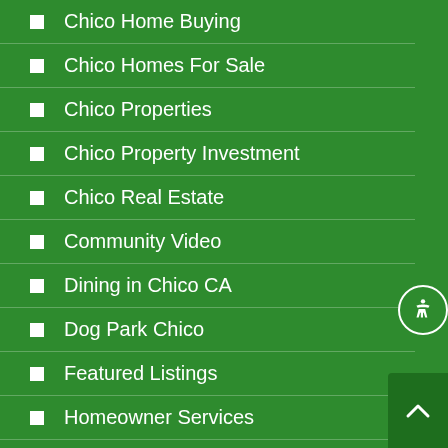Chico Home Buying
Chico Homes For Sale
Chico Properties
Chico Property Investment
Chico Real Estate
Community Video
Dining in Chico CA
Dog Park Chico
Featured Listings
Homeowner Services
Homes for sale in Chico
Local Community Events
Local Community Photos/Video
Magalia